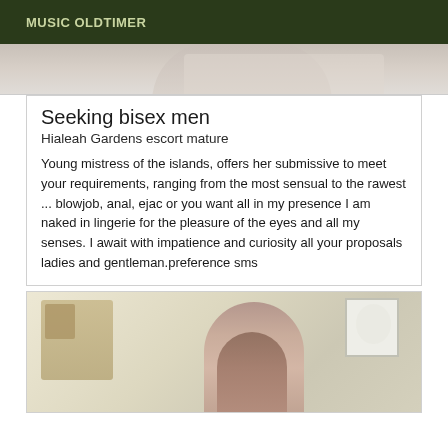MUSIC OLDTIMER
[Figure (photo): Partial photo strip at top of page, cropped image of person]
Seeking bisex men
Hialeah Gardens escort mature
Young mistress of the islands, offers her submissive to meet your requirements, ranging from the most sensual to the rawest ... blowjob, anal, ejac or you want all in my presence I am naked in lingerie for the pleasure of the eyes and all my senses. I await with impatience and curiosity all your proposals ladies and gentleman.preference sms
[Figure (photo): Photo of a young woman sitting in a bedroom with a wooden dresser and framed picture on the wall]